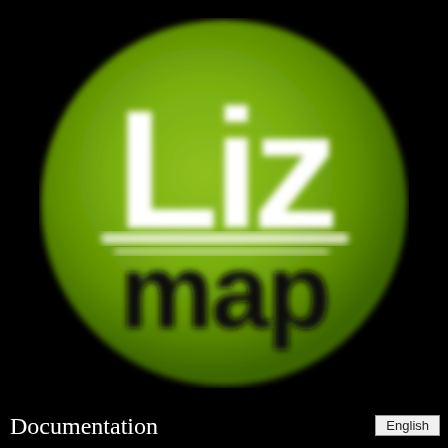[Figure (logo): Lizmap logo: a green circle with white bold text 'Liz' and dark bold text 'map' below, with white underline strokes beneath 'Liz', on a black background.]
Documentation
English